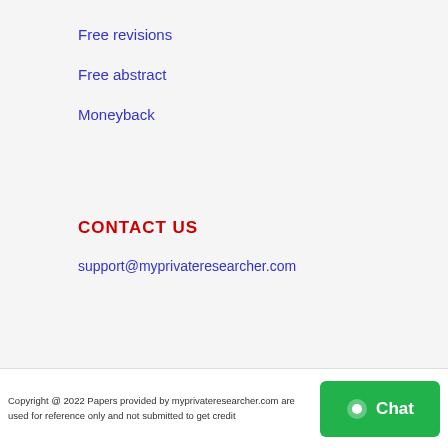Free revisions
Free abstract
Moneyback
CONTACT US
support@myprivateresearcher.com
Copyright @ 2022 Papers provided by myprivateresearcher.com are used for reference only and not submitted to get credit